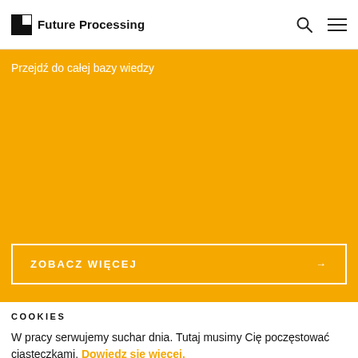Future Processing
Przejdź do całej bazy wiedzy
ZOBACZ WIĘCEJ →
COOKIES
W pracy serwujemy suchar dnia. Tutaj musimy Cię poczęstować ciasteczkami. Dowiedz się więcej.
AKCEPTUJĘ →